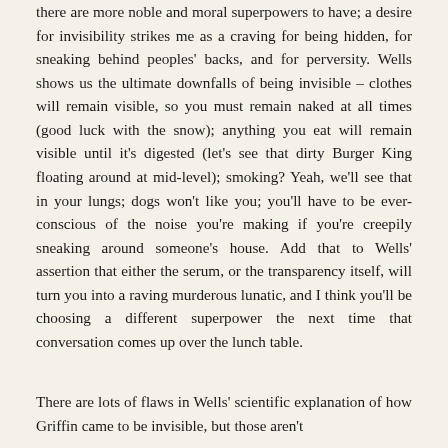there are more noble and moral superpowers to have; a desire for invisibility strikes me as a craving for being hidden, for sneaking behind peoples' backs, and for perversity. Wells shows us the ultimate downfalls of being invisible – clothes will remain visible, so you must remain naked at all times (good luck with the snow); anything you eat will remain visible until it's digested (let's see that dirty Burger King floating around at mid-level); smoking? Yeah, we'll see that in your lungs; dogs won't like you; you'll have to be ever-conscious of the noise you're making if you're creepily sneaking around someone's house. Add that to Wells' assertion that either the serum, or the transparency itself, will turn you into a raving murderous lunatic, and I think you'll be choosing a different superpower the next time that conversation comes up over the lunch table.
There are lots of flaws in Wells' scientific explanation of how Griffin came to be invisible, but those aren't